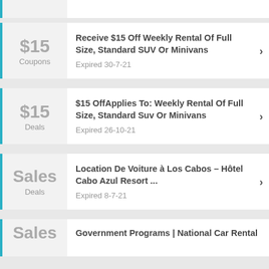$15 Coupons — Receive $15 Off Weekly Rental Of Full Size, Standard SUV Or Minivans — Expired 30-7-21
$15 Deals — $15 OffApplies To: Weekly Rental Of Full Size, Standard Suv Or Minivans — Expired 26-10-21
Sales Deals — Location De Voiture à Los Cabos – Hôtel Cabo Azul Resort ... — Expired 8-7-21
Sales — Government Programs | National Car Rental